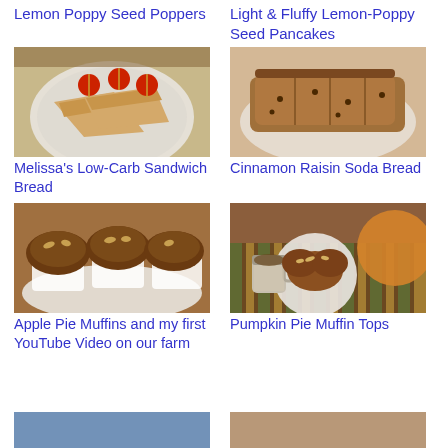Lemon Poppy Seed Poppers
Light & Fluffy Lemon-Poppy Seed Pancakes
[Figure (photo): Sandwiches on a plate with cherry tomatoes]
[Figure (photo): Sliced brown soda bread on a plate]
Melissa's Low-Carb Sandwich Bread
Cinnamon Raisin Soda Bread
[Figure (photo): Apple pie muffins on a white plate]
[Figure (photo): Pumpkin pie muffin tops on a plate with a cup of coffee]
Apple Pie Muffins and my first YouTube Video on our farm
Pumpkin Pie Muffin Tops
[Figure (photo): Partially visible food photo at bottom left]
[Figure (photo): Partially visible food photo at bottom right]